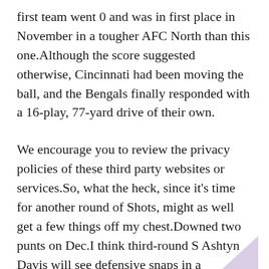first team went 0 and was in first place in November in a tougher AFC North than this one.Although the score suggested otherwise, Cincinnati had been moving the ball, and the Bengals finally responded with a 16-play, 77-yard drive of their own.
We encourage you to review the privacy policies of these third party websites or services.So, what the heck, since it's time for another round of Shots, might as well get a few things off my chest.Downed two punts on Dec.I think third-round S Ashtyn Davis will see defensive snaps in a rotational setting, mixing in with Marcus Maye and Bradley McDougald, but could be heavily involved with special teams early on.Big left arrow icon Big right arrow icon Close icon Copy Url Three dots icon Down arrow icon Email icon Email icon Exit Full screen icon External link icon Facebook